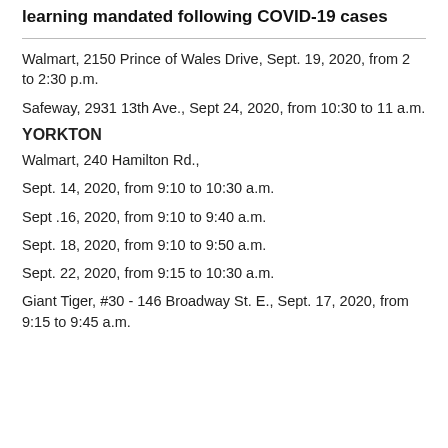learning mandated following COVID-19 cases
Walmart, 2150 Prince of Wales Drive, Sept. 19, 2020, from 2 to 2:30 p.m.
Safeway, 2931 13th Ave., Sept 24, 2020, from 10:30 to 11 a.m.
YORKTON
Walmart, 240 Hamilton Rd.,
Sept. 14, 2020, from 9:10 to 10:30 a.m.
Sept .16, 2020, from 9:10 to 9:40 a.m.
Sept. 18, 2020, from 9:10 to 9:50 a.m.
Sept. 22, 2020, from 9:15 to 10:30 a.m.
Giant Tiger, #30 - 146 Broadway St. E., Sept. 17, 2020, from 9:15 to 9:45 a.m.